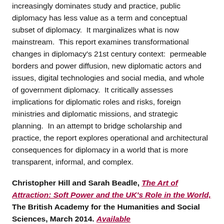increasingly dominates study and practice, public diplomacy has less value as a term and conceptual subset of diplomacy.  It marginalizes what is now mainstream.  This report examines transformational changes in diplomacy's 21st century context:  permeable borders and power diffusion, new diplomatic actors and issues, digital technologies and social media, and whole of government diplomacy.  It critically assesses implications for diplomatic roles and risks, foreign ministries and diplomatic missions, and strategic planning.  In an attempt to bridge scholarship and practice, the report explores operational and architectural consequences for diplomacy in a world that is more transparent, informal, and complex.
Christopher Hill and Sarah Beadle, The Art of Attraction: Soft Power and the UK's Role in the World, The British Academy for the Humanities and Social Sciences, March 2014. Available